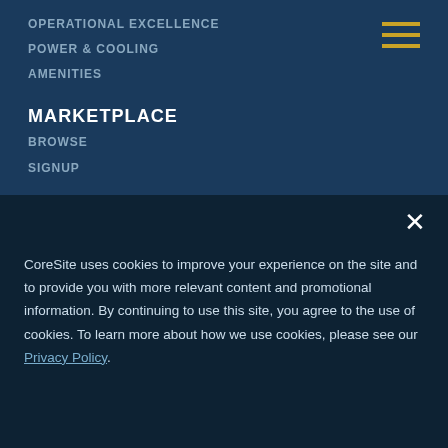OPERATIONAL EXCELLENCE
POWER & COOLING
AMENITIES
MARKETPLACE
BROWSE
SIGNUP
[Figure (other): Hamburger menu icon with three horizontal gold lines]
CoreSite uses cookies to improve your experience on the site and to provide you with more relevant content and promotional information. By continuing to use this site, you agree to the use of cookies. To learn more about how we use cookies, please see our Privacy Policy.